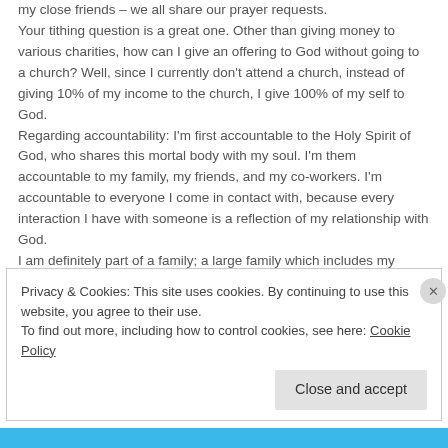my close friends – we all share our prayer requests. Your tithing question is a great one. Other than giving money to various charities, how can I give an offering to God without going to a church? Well, since I currently don't attend a church, instead of giving 10% of my income to the church, I give 100% of my self to God. Regarding accountability: I'm first accountable to the Holy Spirit of God, who shares this mortal body with my soul. I'm them accountable to my family, my friends, and my co-workers. I'm accountable to everyone I come in contact with, because every interaction I have with someone is a reflection of my relationship with God. I am definitely part of a family; a large family which includes my friends.
Privacy & Cookies: This site uses cookies. By continuing to use this website, you agree to their use. To find out more, including how to control cookies, see here: Cookie Policy
Close and accept